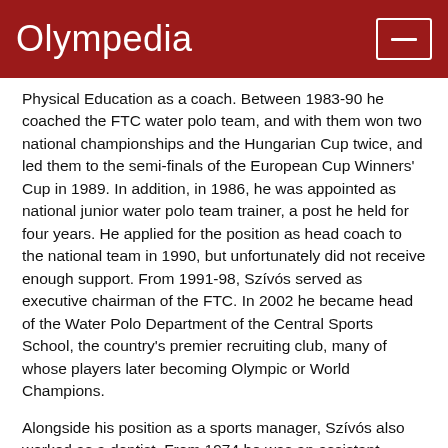Olympedia
Physical Education as a coach. Between 1983-90 he coached the FTC water polo team, and with them won two national championships and the Hungarian Cup twice, and led them to the semi-finals of the European Cup Winners' Cup in 1989. In addition, in 1986, he was appointed as national junior water polo team trainer, a post he held for four years. He applied for the position as head coach to the national team in 1990, but unfortunately did not receive enough support. From 1991-98, Szívós served as executive chairman of the FTC. In 2002 he became head of the Water Polo Department of the Central Sports School, the country's premier recruiting club, many of whose players later becoming Olympic or World Champions.
Alongside his position as a sports manager, Szívós also worked as a dentist. From 1974 he was an assistant professor at the SOTE Paediatric Dentistry and Orthodontics Department, and from 1986-2010 was an assistant professor. In 1994 he was awarded the Central Cross of the Order of the Hungarian Republic, and two years later was inducted into the International Swimming Hall of Fame. In 2000 he was nominated a member of the Hungarian